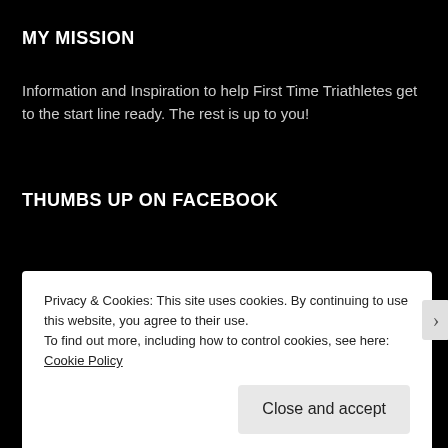MY MISSION
Information and Inspiration to help First Time Triathletes get to the start line ready. The rest is up to you!
THUMBS UP ON FACEBOOK
Follow First Time Triathlete
Privacy & Cookies: This site uses cookies. By continuing to use this website, you agree to their use.
To find out more, including how to control cookies, see here: Cookie Policy
Close and accept